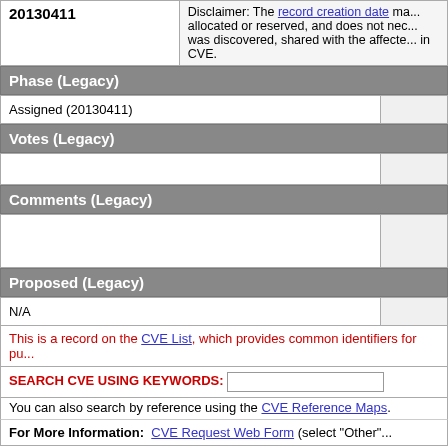| ID | Disclaimer |
| --- | --- |
| 20130411 | Disclaimer: The record creation date ma... allocated or reserved, and does not nec... was discovered, shared with the affecte... in CVE. |
Phase (Legacy)
| Assigned (20130411) |  |
Votes (Legacy)
|  |  |
Comments (Legacy)
|  |  |
Proposed (Legacy)
| N/A |  |
This is a record on the CVE List, which provides common identifiers for pu...
SEARCH CVE USING KEYWORDS:
You can also search by reference using the CVE Reference Maps.
For More Information: CVE Request Web Form (select "Other"...
BACK TO TOP
Site Map | Terms of Use | Privacy Policy | Contact Us | Follow CVE